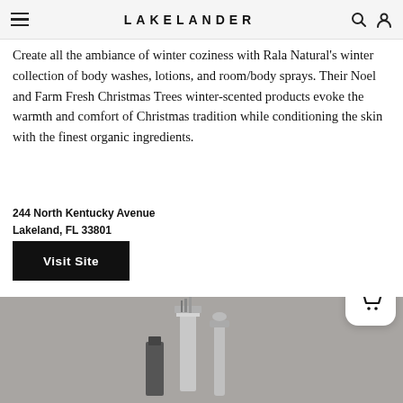LAKELANDER
Create all the ambiance of winter coziness with Rala Natural's winter collection of body washes, lotions, and room/body sprays. Their Noel and Farm Fresh Christmas Trees winter-scented products evoke the warmth and comfort of Christmas tradition while conditioning the skin with the finest organic ingredients.
244 North Kentucky Avenue
Lakeland, FL 33801
Visit Site
[Figure (photo): Gray background product photo showing metallic/chrome bar tools and accessories, partially visible at bottom of page. Shopping basket icon overlay on right side with badge showing 0.]